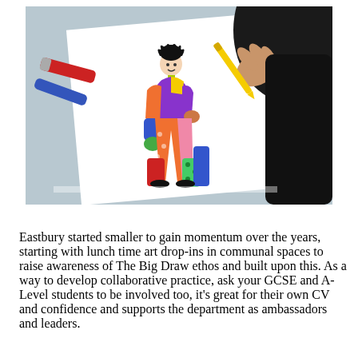[Figure (photo): A student drawing a colorful costume design on white paper. The drawing shows a figure in a vibrant multi-colored outfit with purple, orange, green, blue and pink patchwork segments. The student's hand holds a yellow pencil. Colored markers including red and blue are visible on the blue/grey desk surface in the background.]
Eastbury started smaller to gain momentum over the years, starting with lunch time art drop-ins in communal spaces to raise awareness of The Big Draw ethos and built upon this. As a way to develop collaborative practice, ask your GCSE and A-Level students to be involved too, it's great for their own CV and confidence and supports the department as ambassadors and leaders.